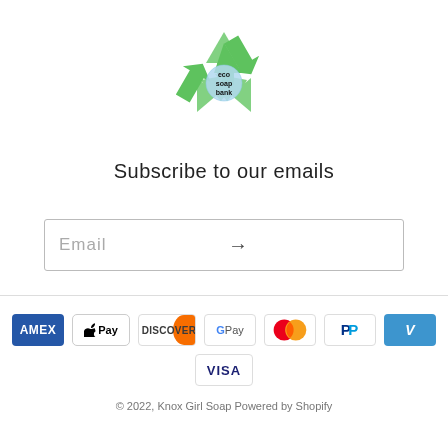[Figure (logo): Eco Soap Bank logo with green recycling arrows and globe, text reads eco soap bank]
Subscribe to our emails
[Figure (screenshot): Email input field with Email placeholder text and right arrow button]
[Figure (infographic): Payment method icons: AMEX, Apple Pay, Discover, Google Pay, Mastercard, PayPal, Venmo, Visa]
© 2022, Knox Girl Soap Powered by Shopify